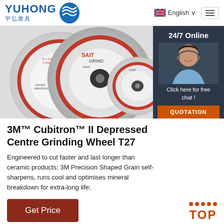[Figure (logo): YUHONG 宇弘磨具 logo with blue wave icon]
English
[Figure (photo): Grinding wheels product photo showing multiple abrasive grinding discs including SAIT GRIND brand, Type 27, arranged overlapping]
24/7 Online
Click here for free chat !
QUOTATION
3M™ Cubitron™ II Depressed Centre Grinding Wheel T27
Engineered to cut faster and last longer than ceramic products; 3M Precision Shaped Grain self-sharpens, runs cool and optimises mineral breakdown for extra-long life;
Get Price